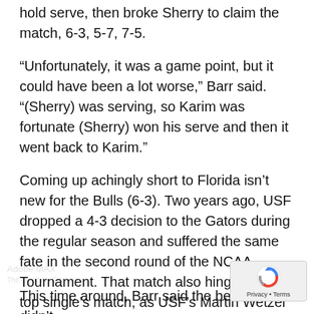hold serve, then broke Sherry to claim the match, 6-3, 5-7, 7-5.
“Unfortunately, it was a game point, but it could have been a lot worse,” Barr said. “(Sherry) was serving, so Karim was fortunate (Sherry) won his serve and then it went back to Karim.”
Coming up achingly short to Florida isn’t new for the Bulls (6-3). Two years ago, USF dropped a 4-3 decision to the Gators during the regular season and suffered the same fate in the second round of the NCAA Tournament. That match also hinged on the top single’s match, as USF’s Martin Wetzel fell in three sets after winning the first and leading 3-1 in the second.
This time around, Barr said the better team didn’t